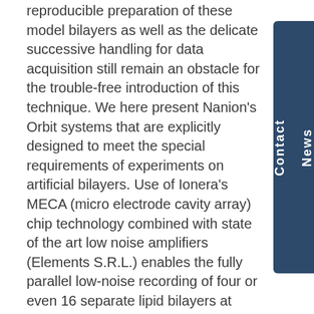reproducible preparation of these model bilayers as well as the delicate successive handling for data acquisition still remain an obstacle for the trouble-free introduction of this technique. We here present Nanion's Orbit systems that are explicitly designed to meet the special requirements of experiments on artificial bilayers. Use of Ionera's MECA (micro electrode cavity array) chip technology combined with state of the art low noise amplifiers (Elements S.R.L.) enables the fully parallel low-noise recording of four or even 16 separate lipid bilayers at bandwidths up to 100 kHz. The systems have already been validated with targets as diverse as ligand and voltage gated ion channels, porins and origami DNA constructs, antimicrobial peptides or membrane active toxins. The optional temperature control for the Orbit mini furthermore allows for experiments on temperature sensitive species such as TRP channels or for experiments at physiological temperatures whereas the fully automated bilayer generation on the Orbit e16 further improves the system's usability